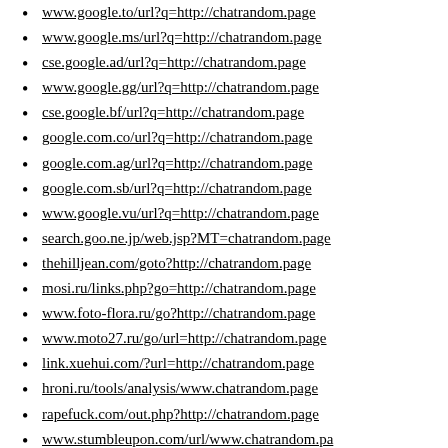www.google.to/url?q=http://chatrandom.page
www.google.ms/url?q=http://chatrandom.page
cse.google.ad/url?q=http://chatrandom.page
www.google.gg/url?q=http://chatrandom.page
cse.google.bf/url?q=http://chatrandom.page
google.com.co/url?q=http://chatrandom.page
google.com.ag/url?q=http://chatrandom.page
google.com.sb/url?q=http://chatrandom.page
www.google.vu/url?q=http://chatrandom.page
search.goo.ne.jp/web.jsp?MT=chatrandom.page
thehilljean.com/goto?http://chatrandom.page
mosi.ru/links.php?go=http://chatrandom.page
www.foto-flora.ru/go?http://chatrandom.page
www.moto27.ru/go/url=http://chatrandom.page
link.xuehui.com/?url=http://chatrandom.page
hroni.ru/tools/analysis/www.chatrandom.page
rapefuck.com/out.php?http://chatrandom.page
www.stumbleupon.com/url/www.chatrandom.page